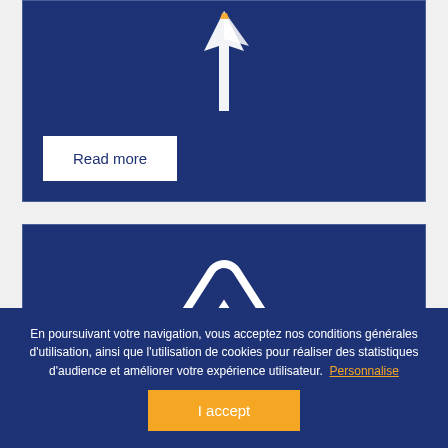[Figure (illustration): Dark navy blue card with a white rocket/arrow icon at the top center]
Read more
[Figure (logo): Dark navy blue card with a white arch/mountain logo centered]
En poursuivant votre navigation, vous acceptez nos conditions générales d'utilisation, ainsi que l'utilisation de cookies pour réaliser des statistiques d'audience et améliorer votre expérience utilisateur. Personnalise
I accept